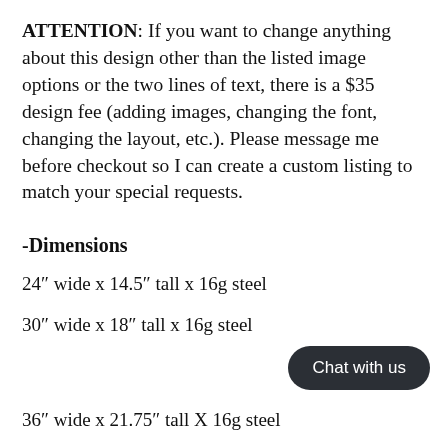ATTENTION: If you want to change anything about this design other than the listed image options or the two lines of text, there is a $35 design fee (adding images, changing the font, changing the layout, etc.). Please message me before checkout so I can create a custom listing to match your special requests.
-Dimensions
24" wide x 14.5" tall x 16g steel
30" wide x 18" tall x 16g steel
36" wide x 21.75" tall X 16g steel